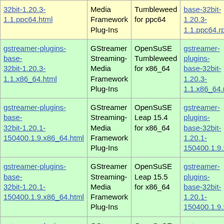| Package | Description | Distribution | RPM |
| --- | --- | --- | --- |
| gstreamer-plugins-base-32bit-1.20.3-1.1.ppc64.html | GStreamer Streaming-Media Framework Plug-Ins | OpenSuSE Tumbleweed for ppc64 | gstreamer-plugins-base-32bit-1.20.3-1.1.ppc64.rpm |
| gstreamer-plugins-base-32bit-1.20.3-1.1.x86_64.html | GStreamer Streaming-Media Framework Plug-Ins | OpenSuSE Tumbleweed for x86_64 | gstreamer-plugins-base-32bit-1.20.3-1.1.x86_64.rpm |
| gstreamer-plugins-base-32bit-1.20.1-150400.1.9.x86_64.html | GStreamer Streaming-Media Framework Plug-Ins | OpenSuSE Leap 15.4 for x86_64 | gstreamer-plugins-base-32bit-1.20.1-150400.1.9.x86_64 |
| gstreamer-plugins-base-32bit-1.20.1-150400.1.9.x86_64.html | GStreamer Streaming-Media Framework Plug-Ins | OpenSuSE Leap 15.5 for x86_64 | gstreamer-plugins-base-32bit-1.20.1-150400.1.9.x86_64 |
| gstreamer-plugins-base-32bit-1.16.3-lp152.3.3.1.x86_64.html | GStreamer Streaming-Media Framework Plug-Ins | OpenSuSE Leap 15.2 updates for x86_64 | gstreamer-plugins-base-32bit-1.16.3-lp152.3.3.1.x86_64 |
|  | GStreamer |  |  |